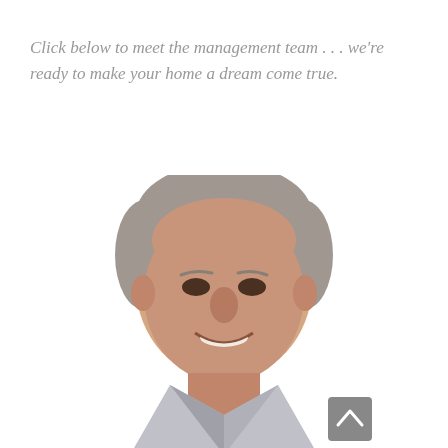Click below to meet the management team . . . we're ready to make your home a dream come true.
[Figure (photo): Headshot photo of a middle-aged man with gray hair, smiling, wearing a light gray jacket, against a white background.]